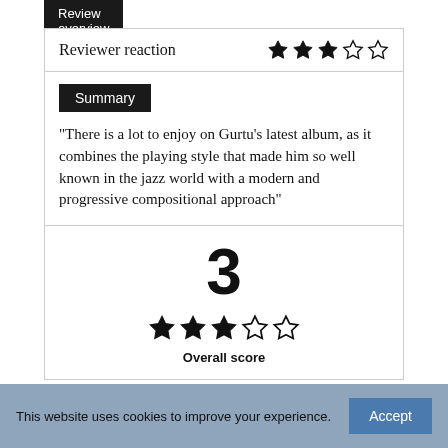Review overview
Reviewer reaction
Summary
"There is a lot to enjoy on Gurtu’s latest album, as it combines the playing style that made him so well known in the jazz world with a modern and progressive compositional approach"
3
Overall score
This website uses cookies to improve your experience.